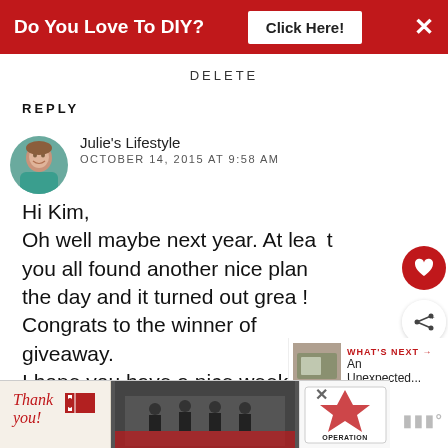[Figure (screenshot): Red advertisement banner: 'Do You Love To DIY? Click Here!' with close X button]
DELETE
REPLY
[Figure (photo): Avatar photo of Julie's Lifestyle - woman in teal/blue top]
Julie's Lifestyle
OCTOBER 14, 2015 AT 9:58 AM
Hi Kim, Oh well maybe next year. At least you all found another nice plan the day and it turned out great! Congrats to the winner of giveaway. I hope you have a nice week
[Figure (screenshot): Bottom advertisement: Thank You Operation Gratitude with firefighters photo]
[Figure (screenshot): What's Next sidebar with thumbnail image]